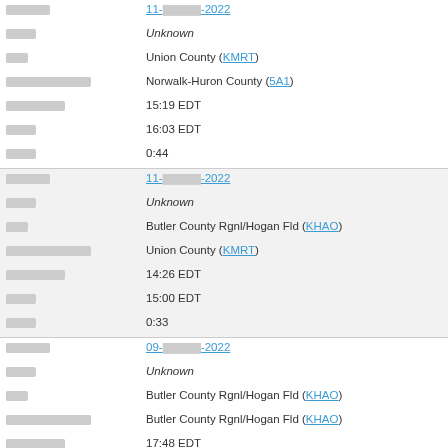| Field | Value |
| --- | --- |
| [redacted] | 11-[redacted]-2022 |
| [redacted] | Unknown |
| [redacted] | Union County (KMRT) |
| [redacted] [redacted] | Norwalk-Huron County (5A1) |
| [redacted] | 15:19 EDT |
| [redacted] | 16:03 EDT |
| [redacted] | 0:44 |
| [redacted] | 11-[redacted]-2022 |
| [redacted] | Unknown |
| [redacted] | Butler County Rgnl/Hogan Fld (KHAO) |
| [redacted] [redacted] | Union County (KMRT) |
| [redacted] | 14:26 EDT |
| [redacted] | 15:00 EDT |
| [redacted] | 0:33 |
| [redacted] | 09-[redacted]-2022 |
| [redacted] | Unknown |
| [redacted] | Butler County Rgnl/Hogan Fld (KHAO) |
| [redacted] [redacted] | Butler County Rgnl/Hogan Fld (KHAO) |
| [redacted] | 17:48 EDT |
| [redacted] | 18:49 EDT |
| [redacted] | 1:0... |